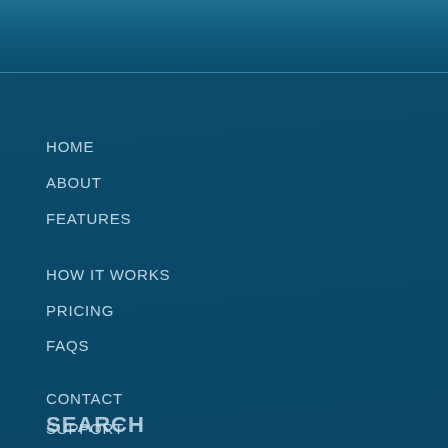[Figure (other): Dark teal/blue gradient header banner at the top of the page]
HOME
ABOUT
FEATURES
HOW IT WORKS
PRICING
FAQS
CONTACT
SUPPORT
ENQUIRE
SEARCH